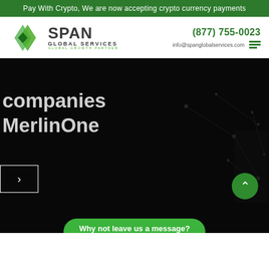Pay With Crypto, We are now accepting crypto currency payments
[Figure (logo): Span Global Services logo with two overlapping diamond shapes in green and a dark green center, with text SPAN GLOBAL SERVICES GLOBAL GROWTH PARTNER]
(877) 755-0023   info@spanglobalservices.com
companies MerlinOne
Why not leave us a message?